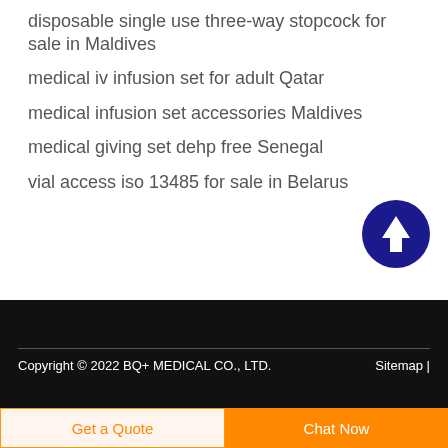disposable single use three-way stopcock for sale in Maldives
medical iv infusion set for adult Qatar
medical infusion set accessories Maldives
medical giving set dehp free Senegal
vial access iso 13485 for sale in Belarus
[Figure (illustration): Dark blue circular button with white upward arrow icon (scroll to top button)]
Copyright © 2022 BQ+ MEDICAL CO., LTD.    Sitemap |
Get a Quote  Chat Now